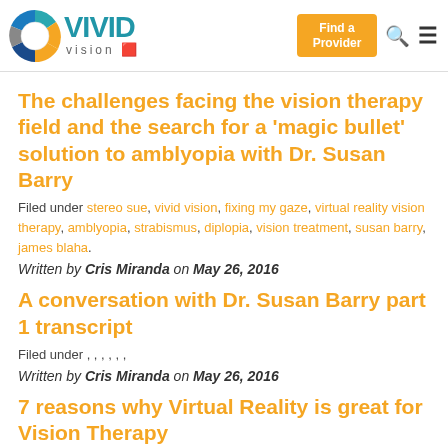Vivid Vision — Find a Provider
The challenges facing the vision therapy field and the search for a 'magic bullet' solution to amblyopia with Dr. Susan Barry
Filed under stereo sue, vivid vision, fixing my gaze, virtual reality vision therapy, amblyopia, strabismus, diplopia, vision treatment, susan barry, james blaha.
Written by Cris Miranda on May 26, 2016
A conversation with Dr. Susan Barry part 1 transcript
Filed under , , , , , ,
Written by Cris Miranda on May 26, 2016
7 reasons why Virtual Reality is great for Vision Therapy
Filed under virtual reality, anaglyphs, 3d tv, 3d television